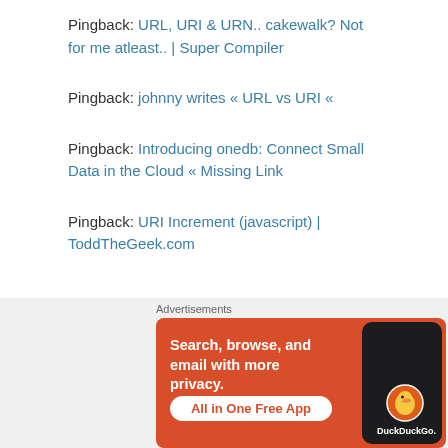Pingback: URL, URI & URN.. cakewalk? Not for me atleast.. | Super Compiler
Pingback: johnny writes « URL vs URI «
Pingback: Introducing onedb: Connect Small Data in the Cloud « Missing Link
Pingback: URI Increment (javascript) | ToddTheGeek.com
[Figure (screenshot): DuckDuckGo advertisement banner on orange background. Text: 'Search, browse, and email with more privacy. All in One Free App'. Shows a smartphone with DuckDuckGo logo and brand name.]